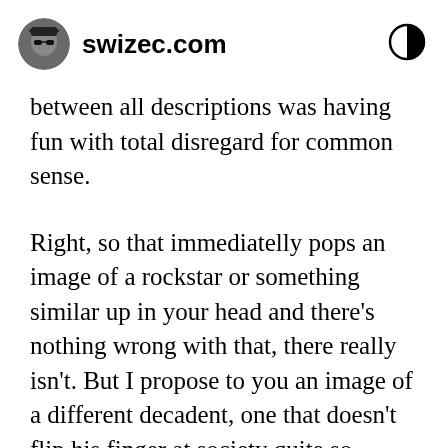swizec.com
between all descriptions was having fun with total disregard for common sense.
Right, so that immediatelly pops an image of a rockstar or something similar up in your head and there's nothing wrong with that, there really isn't. But I propose to you an image of a different decadent, one that doesn't flip his finger at society quite so obviously. What if true decadence is that guy who goes to work every morning and loves it? What if it's the workoholic who